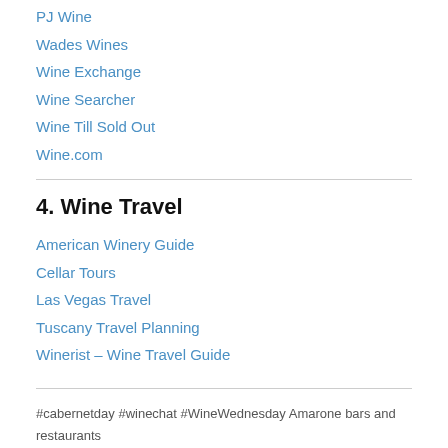PJ Wine
Wades Wines
Wine Exchange
Wine Searcher
Wine Till Sold Out
Wine.com
4. Wine Travel
American Winery Guide
Cellar Tours
Las Vegas Travel
Tuscany Travel Planning
Winerist – Wine Travel Guide
#cabernetday #winechat #WineWednesday Amarone bars and restaurants Beaujolais nouveau cabernet franc cabernet sauvignon Cape